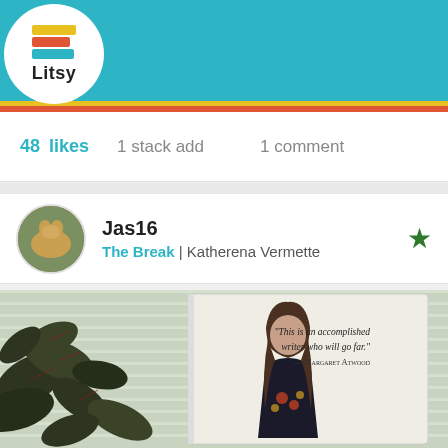[Figure (screenshot): Litsy app screenshot showing navigation bar with logo, home, search, add, notification, and profile icons, color stripes (teal, yellow, red), post stats (48 likes, 1 stack add, 1 comment), user Jas16 with book The Break by Katherena Vermette, and a photo of the book cover next to a plant with a Margaret Atwood quote]
48 likes   1 stack add   1 comment
Jas16
The Break | Katherena Vermette
[Figure (photo): Photo of The Break book cover by Katherena Vermette next to a dark-leafed plant on a windowsill, with quote: 'This is an accomplished writer who will go far.' — Margaret Atwood]